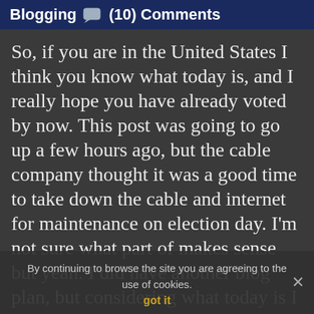Blogging (10) Comments
So, if you are in the United States I think you know what today is, and I really hope you have already voted by now. This post was going to go up a few hours ago, but the cable company thought it was a good time to take down the cable and internet for maintenance on election day. I'm not sure what part of makes sense but yeah. I did have another blog plan, but considering what today is I thought it would be better to just … my hometown will be just as trashy tomorrow as today, if not more so.
By continuing to browse the site you are agreeing to the use of cookies.
got it